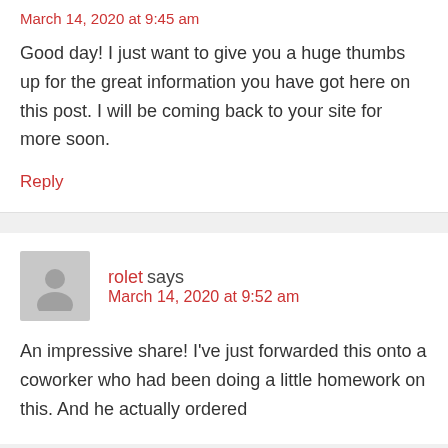March 14, 2020 at 9:45 am
Good day! I just want to give you a huge thumbs up for the great information you have got here on this post. I will be coming back to your site for more soon.
Reply
rolet says March 14, 2020 at 9:52 am
An impressive share! I've just forwarded this onto a coworker who had been doing a little homework on this. And he actually ordered